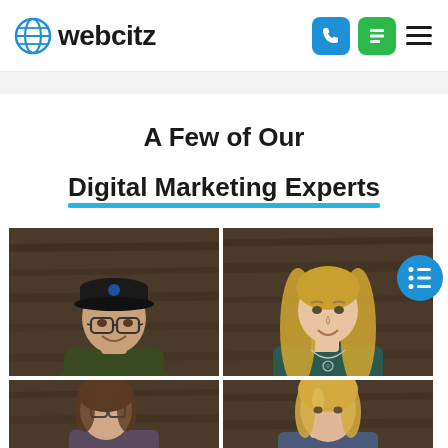webcitz
A Few of Our Digital Marketing Experts
[Figure (photo): Grid of four headshot photos of digital marketing experts against a wood-paneled background. Top-left: young man with glasses and dark cap, green sweater. Top-right: blonde woman in dark teal top with necklace. Bottom-left and bottom-right: two more professionals partially visible.]